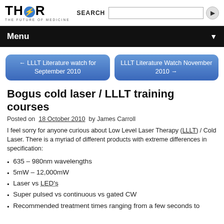THOR THE FUTURE OF MEDICINE | SEARCH
Menu
← LLLT Literature watch for September 2010
LLLT Literature Watch November 2010 →
Bogus cold laser / LLLT training courses
Posted on 18 October 2010 by James Carroll
I feel sorry for anyone curious about Low Level Laser Therapy (LLLT) / Cold Laser. There is a myriad of different products with extreme differences in specification:
635 – 980nm wavelengths
5mW – 12,000mW
Laser vs LED's
Super pulsed vs continuous vs gated CW
Recommended treatment times ranging from a few seconds to